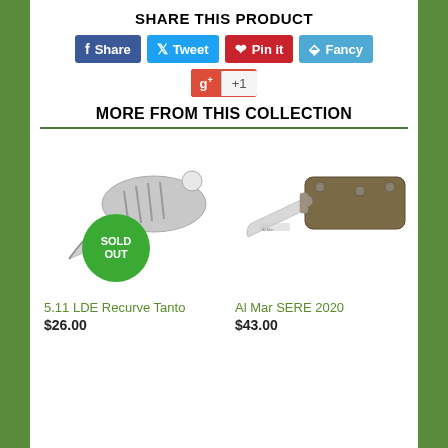SHARE THIS PRODUCT
[Figure (infographic): Social share buttons: Facebook Share, Twitter Tweet, Pinterest Pin it, Fancy, and Google +1]
MORE FROM THIS COLLECTION
[Figure (photo): 5.11 LDE Recurve Tanto knife with a sold out badge]
5.11 LDE Recurve Tanto
$26.00
[Figure (photo): Al Mar SERE 2020 folding knife with brown handle]
Al Mar SERE 2020
$43.00